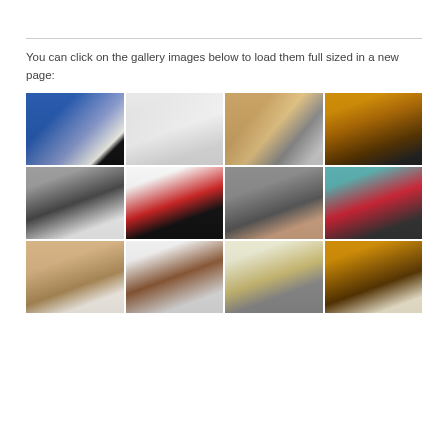You can click on the gallery images below to load them full sized in a new page:
[Figure (photo): Gallery of bedroom images arranged in a 4-column grid. Row 1: modern bed with blue wall, white hotel-style bed, modern bedroom with glass wall and warm wood tones, low platform bed with orange accent wall. Row 2: black and white upholstered bed, bold red and white modern bed, dark contemporary bed frame, red modern bedroom with teal partition. Row 3 (partial): warm toned bedroom, dark wood traditional bed, wooden bunk or loft-style bed, warmly lit modern bedroom.]